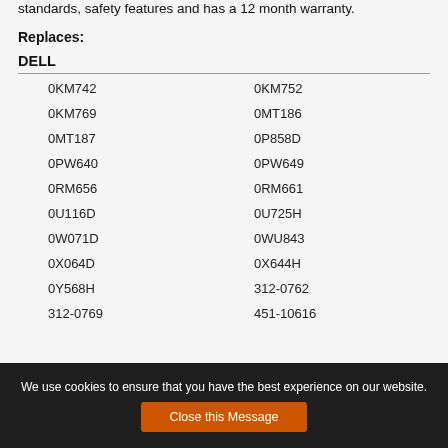standards, safety features and has a 12 month warranty.
Replaces:
DELL
| 0KM742 | 0KM752 |
| 0KM769 | 0MT186 |
| 0MT187 | 0P858D |
| 0PW640 | 0PW649 |
| 0RM656 | 0RM661 |
| 0U116D | 0U725H |
| 0W071D | 0WU843 |
| 0X064D | 0X644H |
| 0Y568H | 312-0762 |
| 312-0769 | 451-10616 |
We use cookies to ensure that you have the best experience on our website.